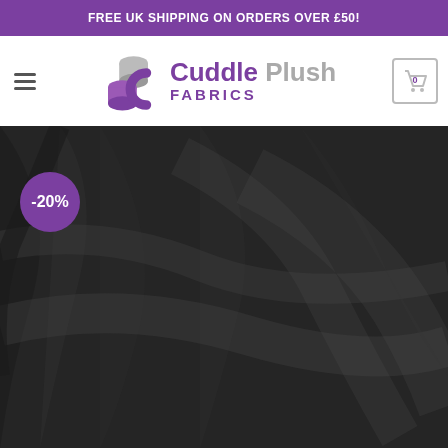FREE UK SHIPPING ON ORDERS OVER £50!
[Figure (logo): Cuddle Plush Fabrics logo with fabric roll icon and shopping cart icon, hamburger menu]
[Figure (photo): Close-up photo of dark black/charcoal plush fabric with soft folds and texture, showing a -20% discount badge in purple circle]